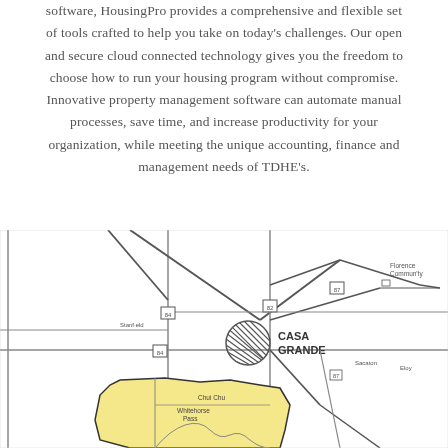software, HousingPro provides a comprehensive and flexible set of tools crafted to help you take on today's challenges. Our open and secure cloud connected technology gives you the freedom to choose how to run your housing program without compromise. Innovative property management software can automate manual processes, save time, and increase productivity for your organization, while meeting the unique accounting, finance and management needs of TDHE's.
[Figure (map): A road map showing the area around Casa Grande, Arizona, with roads, a hatched circle symbol marking the city center, surrounding communities including Florence Community labeled in the upper right, and a yellow shaded region in the lower portion indicating a tribal or designated land area with labels including Chui Chu, Whitehorse Pass, and other place names.]